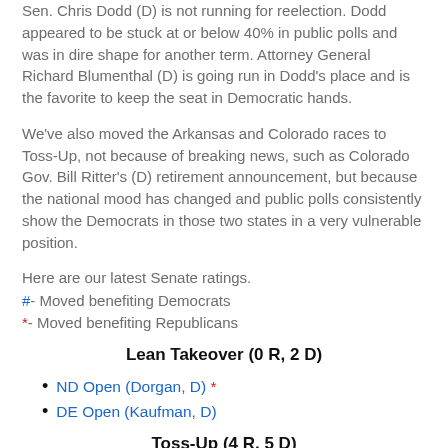Democrats prospects brightened in Connecticut now that Sen. Chris Dodd (D) is not running for reelection. Dodd appeared to be stuck at or below 40% in public polls and was in dire shape for another term. Attorney General Richard Blumenthal (D) is going run in Dodd's place and is the favorite to keep the seat in Democratic hands.
We've also moved the Arkansas and Colorado races to Toss-Up, not because of breaking news, such as Colorado Gov. Bill Ritter's (D) retirement announcement, but because the national mood has changed and public polls consistently show the Democrats in those two states in a very vulnerable position.
Here are our latest Senate ratings.
#- Moved benefiting Democrats
*- Moved benefiting Republicans
Lean Takeover (0 R, 2 D)
ND Open (Dorgan, D) *
DE Open (Kaufman, D)
Toss-Up (4 R, 5 D)